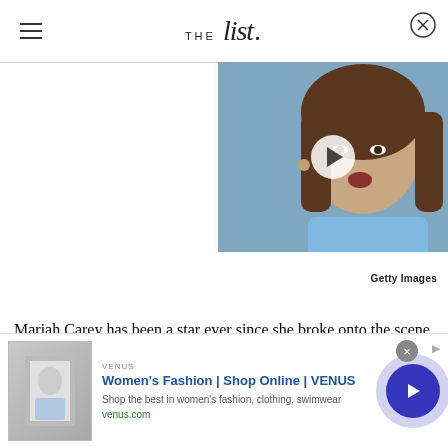THE list
[Figure (photo): Photo of a woman with brown hair wearing a blue outfit, with a video play button overlay. Getty Images watermark.]
Getty Images
Mariah Carey has been a star ever since she broke onto the scene in the 1980s, and the "Always Be My Baby"...
[Figure (screenshot): Advertisement banner: Women's Fashion | Shop Online | VENUS. Shop the best in women's fashion, clothing, swimwear. venus.com]